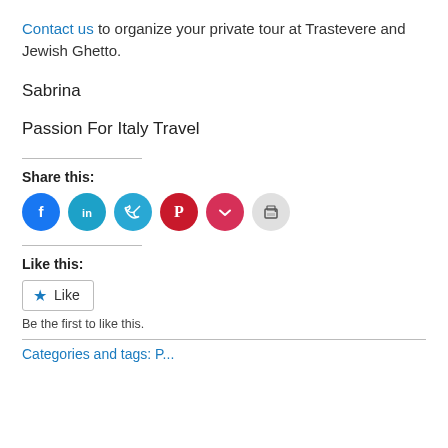Contact us to organize your private tour at Trastevere and Jewish Ghetto.
Sabrina
Passion For Italy Travel
Share this:
[Figure (infographic): Row of six circular social share buttons: Facebook (blue), LinkedIn (teal), Twitter (light blue), Pinterest (red), Pocket (pink-red), Print (light grey)]
Like this:
[Figure (other): Like button widget with star icon and 'Like' label]
Be the first to like this.
Categories and tags: P...